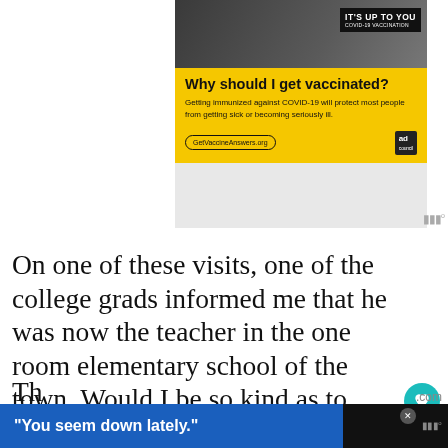[Figure (infographic): COVID-19 vaccination advertisement. Yellow background with headline 'Why should I get vaccinated?' and body text 'Getting immunized against COVID-19 will protect most people from getting sick or becoming seriously ill.' URL: GetVaccineAnswers.org. Ad Council logo. Photo of bearded man at top with 'IT'S UP TO YOU COVID-19 VACCINATION' text overlay.]
On one of these visits, one of the college grads informed me that he was now the teacher in the one room elementary school of the town. Would I be so kind as to come to his school and maybe teach the small children some English songs?
[Figure (infographic): Bottom advertisement banner with blue background and white bold text: "You seem down lately."]